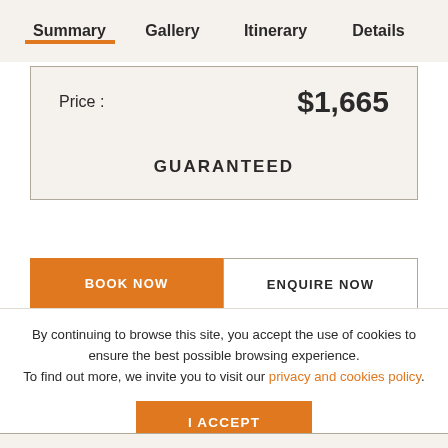Summary | Gallery | Itinerary | Details
Price : $1,665
GUARANTEED
BOOK NOW
ENQUIRE NOW
By continuing to browse this site, you accept the use of cookies to ensure the best possible browsing experience. To find out more, we invite you to visit our privacy and cookies policy.
I ACCEPT